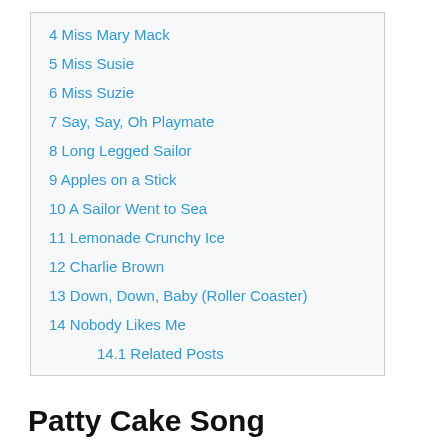4 Miss Mary Mack
5 Miss Susie
6 Miss Suzie
7 Say, Say, Oh Playmate
8 Long Legged Sailor
9 Apples on a Stick
10 A Sailor Went to Sea
11 Lemonade Crunchy Ice
12 Charlie Brown
13 Down, Down, Baby (Roller Coaster)
14 Nobody Likes Me
14.1 Related Posts
Patty Cake Song